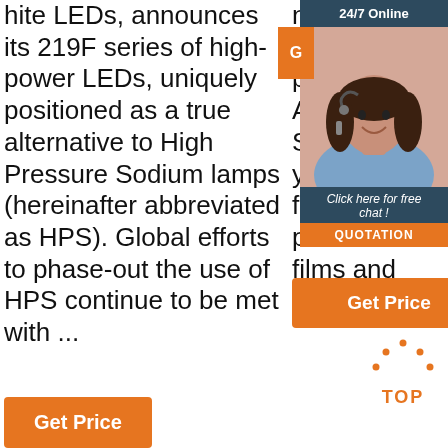hite LEDs, announces its 219F series of high-power LEDs, uniquely positioned as a true alternative to High Pressure Sodium lamps (hereinafter abbreviated as HPS). Global efforts to phase-out the use of HPS continue to be met with ...
nd services, and the power of Adobe Sensei help you craft footage into polished films and videos.
RANE 3S WEEBILL-S CRANE-M2 Accessories All Products
[Figure (photo): Customer service representative woman with headset smiling, with '24/7 Online' header, orange 'G' button, 'Click here for free chat!' text, and QUOTATION button on dark blue sidebar]
Get Price (orange button, center column)
Get Price (orange button, bottom left)